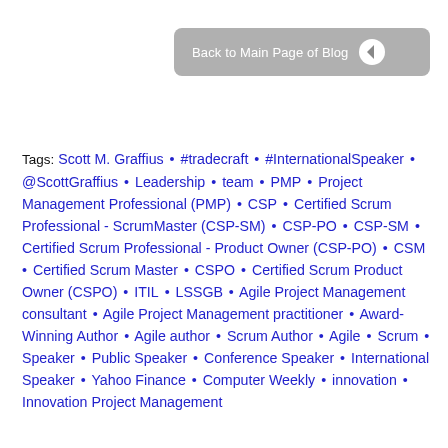[Figure (other): Gray rounded button with text 'Back to Main Page of Blog' and a left-pointing circle arrow icon on the right side]
Tags: Scott M. Graffius • #tradecraft • #InternationalSpeaker • @ScottGraffius • Leadership • team • PMP • Project Management Professional (PMP) • CSP • Certified Scrum Professional - ScrumMaster (CSP-SM) • CSP-PO • CSP-SM • Certified Scrum Professional - Product Owner (CSP-PO) • CSM • Certified Scrum Master • CSPO • Certified Scrum Product Owner (CSPO) • ITIL • LSSGB • Agile Project Management consultant • Agile Project Management practitioner • Award-Winning Author • Agile author • Scrum Author • Agile • Scrum • Speaker • Public Speaker • Conference Speaker • International Speaker • Yahoo Finance • Computer Weekly • innovation • Innovation Project Management